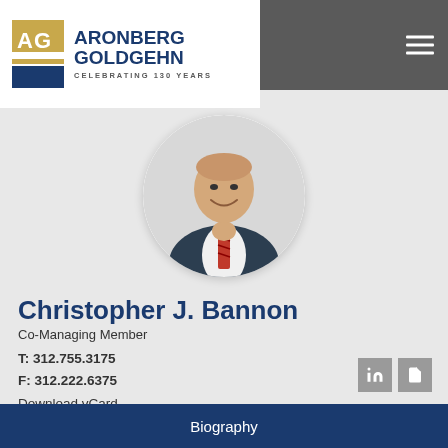[Figure (logo): Aronberg Goldgehn law firm logo with AG monogram and text 'ARONBERG GOLDGEHN CELEBRATING 130 YEARS']
[Figure (photo): Round headshot photo of Christopher J. Bannon, a middle-aged man in a dark suit and red striped tie, smiling]
Christopher J. Bannon
Co-Managing Member
T: 312.755.3175
F: 312.222.6375
Download vCard
cbannon@agdglaw.com
Biography